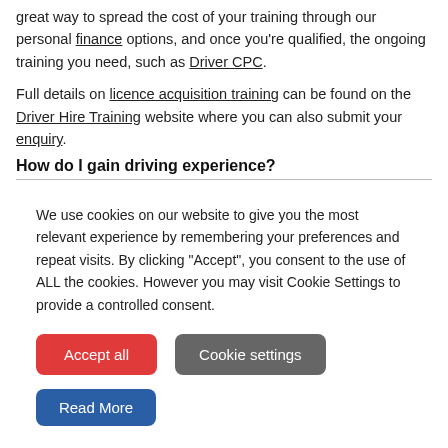great way to spread the cost of your training through our personal finance options, and once you're qualified, the ongoing training you need, such as Driver CPC.
Full details on licence acquisition training can be found on the Driver Hire Training website where you can also submit your enquiry.
How do I gain driving experience?
[Figure (screenshot): Cookie consent overlay with text: 'We use cookies on our website to give you the most relevant experience by remembering your preferences and repeat visits. By clicking "Accept", you consent to the use of ALL the cookies. However you may visit Cookie Settings to provide a controlled consent.' Buttons: 'Accept all' (red), 'Cookie settings' (grey), 'Read More' (blue).]